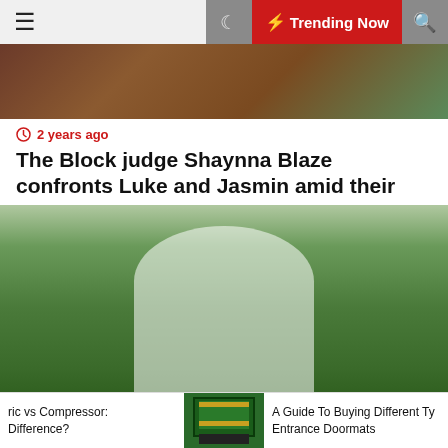☰ 🌙 ⚡ Trending Now 🔍
[Figure (photo): Partial photo of people, colorful clothing visible at top of first article card]
⏱ 2 years ago
The Block judge Shaynna Blaze confronts Luke and Jasmin amid their 'cheating scandal'
[Figure (photo): Wedding photo of a couple in white attire holding hands outdoors, greenery in background]
⏱ 2 years ago
Niecy Nash marries Jessica Betts in surprise
ric vs Compressor: Difference? | [doormat image] | A Guide To Buying Different Ty Entrance Doormats